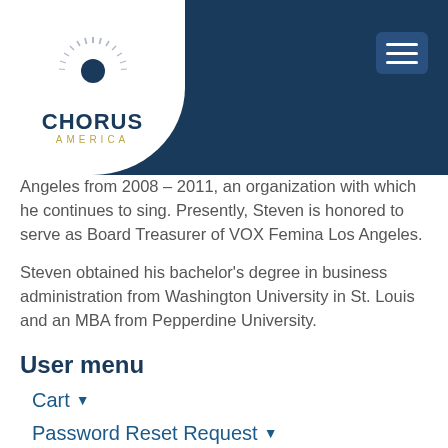[Figure (logo): Chorus America logo with starburst graphic and navigation hamburger menu on dark blue header background]
Angeles from 2008 – 2011, an organization with which he continues to sing. Presently, Steven is honored to serve as Board Treasurer of VOX Femina Los Angeles.
Steven obtained his bachelor's degree in business administration from Washington University in St. Louis and an MBA from Pepperdine University.
User menu
Cart ▾
Password Reset Request ▾